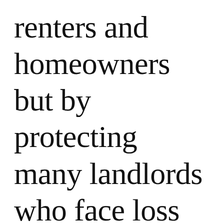renters and homeowners but by protecting many landlords who face loss of needed income. The